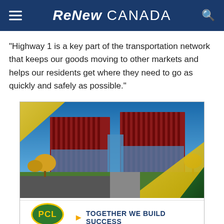ReNew CANADA
“Highway 1 is a key part of the transportation network that keeps our goods moving to other markets and helps our residents get where they need to go as quickly and safely as possible.”
[Figure (photo): Advertisement for PCL Construction showing a modern multi-story building with red vertical fins and glass facade, autumn trees in foreground. Bottom banner shows PCL Construction logo (yellow oval on green background) and tagline 'TOGETHER WE BUILD SUCCESS'.]